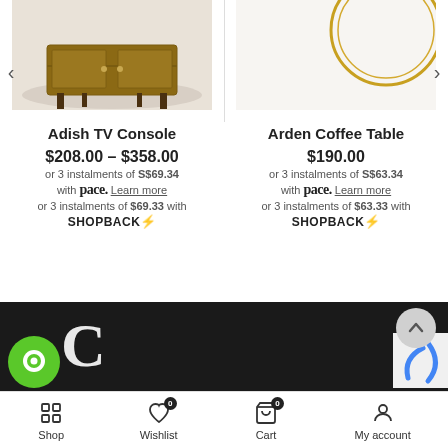[Figure (photo): Product image of Adish TV Console - wooden TV stand with shelves on a rug]
[Figure (photo): Product image of Arden Coffee Table - partial view of a circular/gold metallic table]
Adish TV Console
$208.00 – $358.00
or 3 instalments of S$69.34 with pace. Learn more
or 3 instalments of $69.33 with SHOPBACK
Arden Coffee Table
$190.00
or 3 instalments of S$63.34 with pace. Learn more
or 3 instalments of $63.33 with SHOPBACK
Shop  Wishlist 0  Cart 0  My account